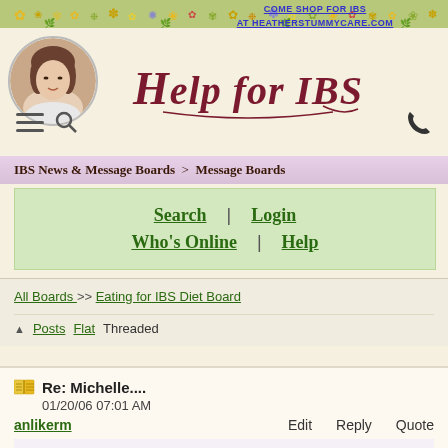COME SHOP FOR IBS AT HEATHERSTUMMYCARE.COM
[Figure (logo): Help for IBS website header with portrait photo and decorative floral border]
IBS News & Message Boards > Message Boards
Search | Login
Who's Online | Help
All Boards >> Eating for IBS Diet Board
Posts  Flat  Threaded
Re: Michelle....
01/20/06 07:01 AM
Edit  Reply  Quote
anlikerm